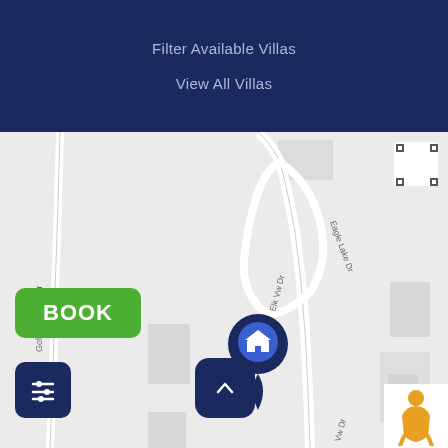Filter Available Villas
View All Villas
[Figure (map): Street map showing Eagle Lake Dr, Elk Vw Dr, Golden Eagle Dr roads with a home location pin marker in dark navy blue with white house icon]
BOOK
[Figure (other): Filter funnel icon button in dark navy]
[Figure (other): Up arrow icon button in dark navy]
[Figure (other): Street view person icon in bottom right corner]